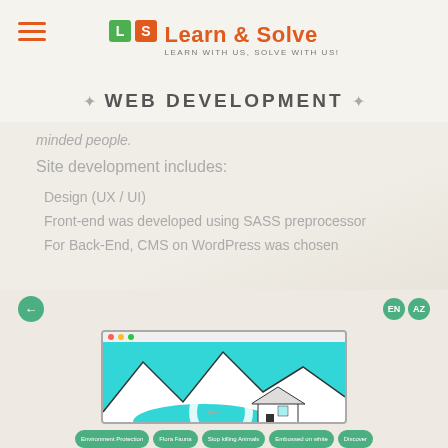Learn & Solve — LEARN WITH US, SOLVE WITH US!
WEB DEVELOPMENT
minded people.
Site development includes:
Design (UX / UI)
Front-end was developed using SASS preprocessor
For Back-End, CMS on WordPress was chosen
[Figure (screenshot): Website screenshot showing a landscape scene with mountains, lake, and a house. A magnifying glass icon is overlaid. Navigation buttons and tab row with labels like 'Environment Protection', 'Flora Fauna', 'Stop killing Animals', 'Embossed on white', 'Discover' visible at bottom.]